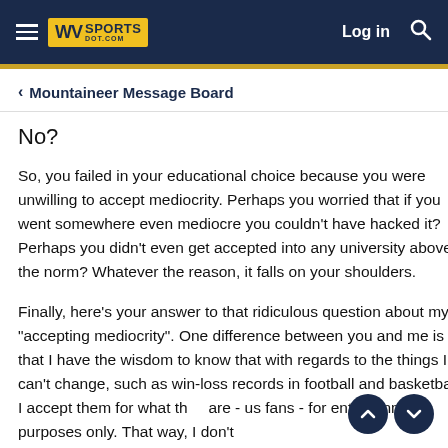WV Sports Dot Com — Log in / Search
< Mountaineer Message Board
No?
So, you failed in your educational choice because you were unwilling to accept mediocrity. Perhaps you worried that if you went somewhere even mediocre you couldn't have hacked it? Perhaps you didn't even get accepted into any university above the norm? Whatever the reason, it falls on your shoulders.
Finally, here's your answer to that ridiculous question about my "accepting mediocrity". One difference between you and me is that I have the wisdom to know that with regards to the things I can't change, such as win-loss records in football and basketball, I accept them for what they are - us fans - for entertainment purposes only. That way, I don't